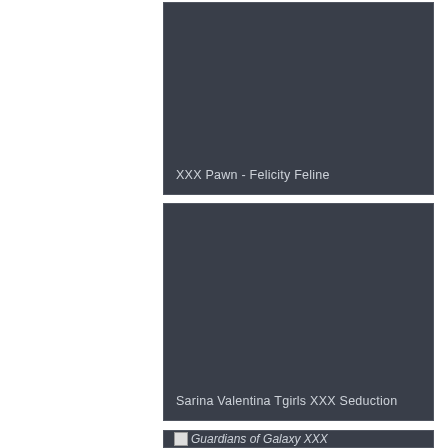[Figure (photo): Dark gray rectangular panel with text 'XXX Pawn - Felicity Feline' at bottom left]
[Figure (photo): Dark gray rectangular panel with text 'Sarina Valentina Tgirls XXX Seduction' at bottom left]
[Figure (photo): Dark gray rectangular panel with broken image icon and text 'Guardians of Galaxy XXX' at left]